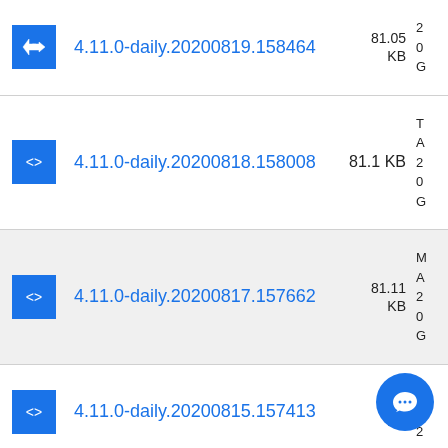4.11.0-daily.20200819.158464 81.05 KB
4.11.0-daily.20200818.158008 81.1 KB
4.11.0-daily.20200817.157662 81.11 KB
4.11.0-daily.20200815.157413 81... KB